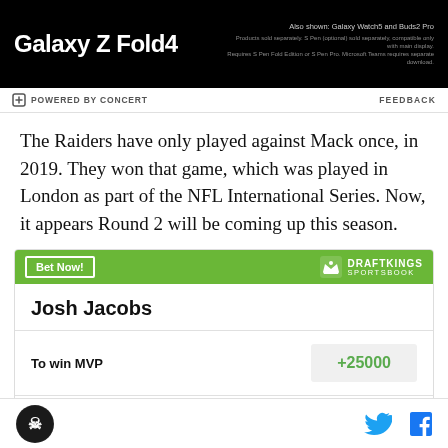[Figure (other): Samsung Galaxy Z Fold4 advertisement banner with product text and fine print]
POWERED BY CONCERT   FEEDBACK
The Raiders have only played against Mack once, in 2019. They won that game, which was played in London as part of the NFL International Series. Now, it appears Round 2 will be coming up this season.
| Player/Bet | Odds |
| --- | --- |
| Josh Jacobs |  |
| To win MVP | +25000 |
| To win Offensive Player of |  |
[Figure (logo): Site logo in page footer]
[Figure (other): Twitter and Facebook social share icons]